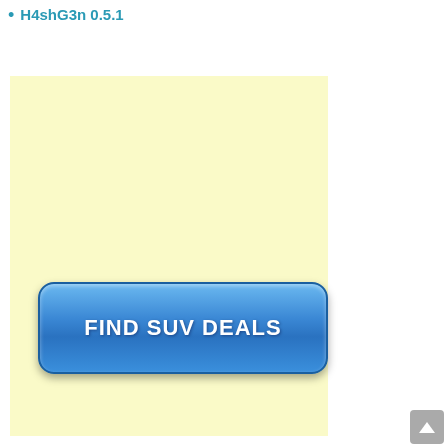H4shG3n 0.5.1
[Figure (screenshot): Yellow background box containing a blue rounded rectangle button with white bold text 'FIND SUV DEALS']
[Figure (other): Gray scroll-to-top button with upward white arrow in the bottom-right corner]